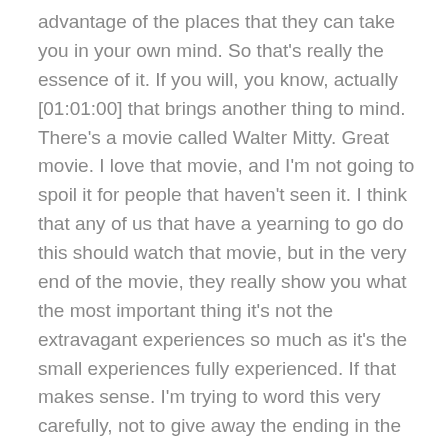advantage of the places that they can take you in your own mind. So that's really the essence of it. If you will, you know, actually [01:01:00] that brings another thing to mind. There's a movie called Walter Mitty. Great movie. I love that movie, and I'm not going to spoil it for people that haven't seen it. I think that any of us that have a yearning to go do this should watch that movie, but in the very end of the movie, they really show you what the most important thing it's not the extravagant experiences so much as it's the small experiences fully experienced. If that makes sense. I'm trying to word this very carefully, not to give away the ending in the very end, you know, that what they called the quintessence of life or something. It was this very simple thing and the guy that thought that he didn't have any of it basically had it all. Yeah. So it's, it's a very interesting lesson. Yeah. You can travel all over the world and see nothing. Yeah. You can travel a few miles away and see it all, and you're a much better traveled person. Just [01:02:00] remember that. And you know, it